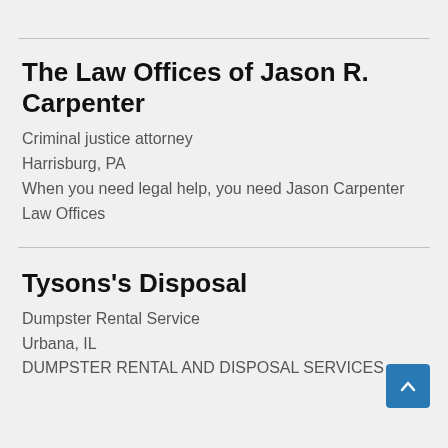The Law Offices of Jason R. Carpenter
Criminal justice attorney
Harrisburg, PA
When you need legal help, you need Jason Carpenter Law Offices
Tysons's Disposal
Dumpster Rental Service
Urbana, IL
DUMPSTER RENTAL AND DISPOSAL SERVICES